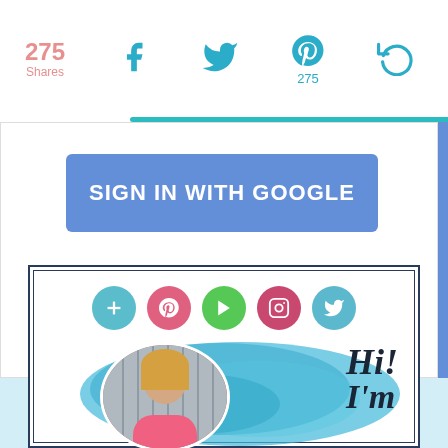275 Shares
[Figure (screenshot): Social share bar with Facebook, Twitter, Pinterest (275), and share count icons in teal]
[Figure (screenshot): Sign In With Google button in blue/purple]
[Figure (screenshot): Blog author profile card with circular social media icons (blog, Pinterest, YouTube, Instagram, Twitter) and photo of blonde woman in pink shirt with watercolor blue splash background and Hi! text]